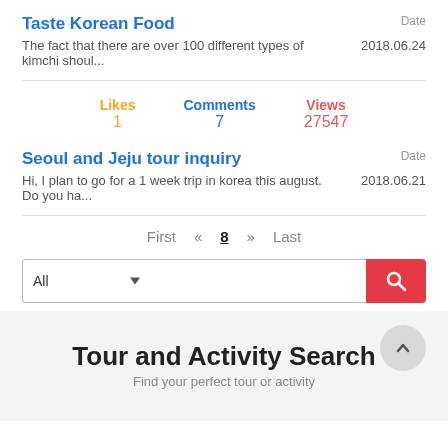Taste Korean Food
The fact that there are over 100 different types of kimchi shoul...
Date 2018.06.24
Likes 1  Comments 7  Views 27547
Seoul and Jeju tour inquiry
Hi, I plan to go for a 1 week trip in korea this august. Do you ha...
Date 2018.06.21
First « 8 » Last
[Figure (screenshot): Search bar with 'All' dropdown, text input, and red search button]
Tour and Activity Search
Find your perfect tour or activity